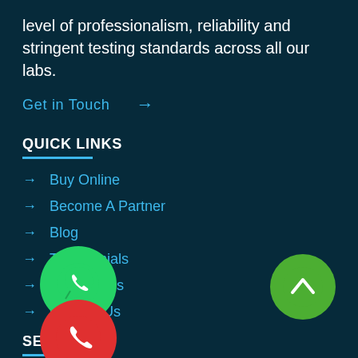level of professionalism, reliability and stringent testing standards across all our labs.
Get in Touch →
QUICK LINKS
→ Buy Online
→ Become A Partner
→ Blog
→ Testimonials
→ [Tutorials]
→ Contact Us
[Figure (illustration): Green WhatsApp phone icon floating button]
[Figure (illustration): Green scroll-to-top chevron button]
SE[RVICES]
[Figure (illustration): Red phone call floating button]
→ Paternity DNA Test